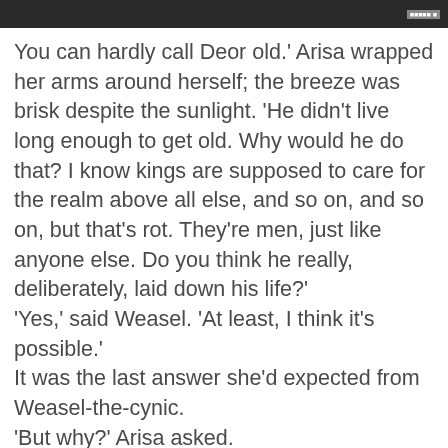[Figure (photo): Dark/black image strip at top of page with a small label in the upper right corner]
You can hardly call Deor old.' Arisa wrapped her arms around herself; the breeze was brisk despite the sunlight. 'He didn't live long enough to get old. Why would he do that? I know kings are supposed to care for the realm above all else, and so on, and so on, but that's rot. They're men, just like anyone else. Do you think he really, deliberately, laid down his life?' 'Yes,' said Weasel. 'At least, I think it's possible.' It was the last answer she'd expected from Weasel-the-cynic. 'But why?' Arisa asked. 'Not having been there, I can't say for sure.' Weasel stuck his hands in his pockets. 'But I'd guess it was for the future.' Arisa frowned. 'I don't understand.' 'The One God willing,' said Weasel softly, 'you never